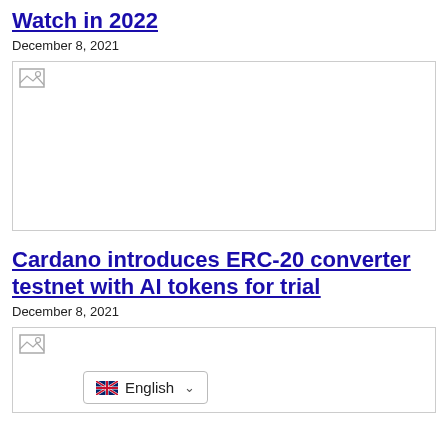Watch in 2022
December 8, 2021
[Figure (photo): Placeholder image with broken image icon, large rectangular area]
Cardano introduces ERC-20 converter testnet with AI tokens for trial
December 8, 2021
[Figure (photo): Placeholder image with broken image icon, partially visible at bottom with English language selector overlay]